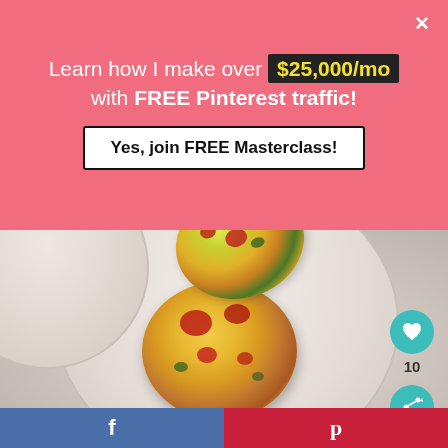[Figure (infographic): Pink promotional banner overlay: 'Learn how I make over $25,000/mo with FREE Pinterest traffic!' with a 'Yes, join FREE Masterclass!' button and a close X button]
[Figure (photo): Overhead photo of egg muffin cups on a white plate on a marble surface, showing two egg muffin bites with spinach, cheese, and red pepper/bacon pieces]
[Figure (infographic): Teal heart button with count '10' below it and a teal share button at the right side of the image]
[Figure (infographic): Bottom bar with Facebook share button (blue) on the left and Pinterest share button (red) on the right]